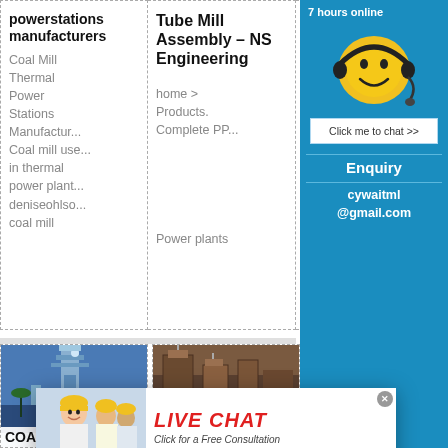powerstations manufacturers
Coal Mill Thermal Power Stations Manufacturer Coal mill used in thermal power plant deniseohlso coal mill
Tube Mill Assembly – NS Engineering
home > Products. Complete PP... Power plants
THERMAL POWER PLANTS: COAL MILLS FOR
13-12-2011 A vertical
[Figure (screenshot): Live chat popup overlay with woman in hard hat, red LIVE CHAT title, 'Click for a Free Consultation' subtitle, Chat now and Chat later buttons]
[Figure (photo): Industrial facility / coal power plant tower with blue sky background, labeled COAL]
[Figure (photo): Industrial thermal plant facility photograph, labeled thermal]
7 hours online
Click me to chat >>
Enquiry
cywaitml@gmail.com